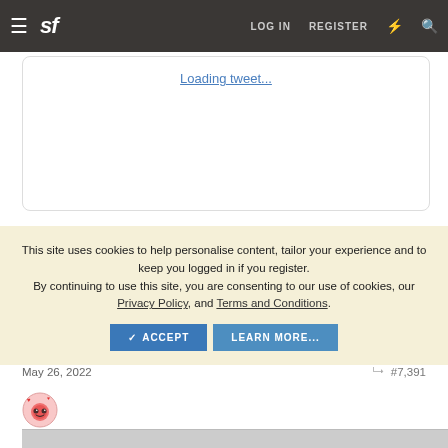sf — LOG IN  REGISTER
[Figure (screenshot): Embedded tweet placeholder with 'Loading tweet...' link text inside a rounded white box]
This site uses cookies to help personalise content, tailor your experience and to keep you logged in if you register.
By continuing to use this site, you are consenting to our use of cookies, our Privacy Policy, and Terms and Conditions.
ACCEPT   LEARN MORE...
May 26, 2022   #7,391
[Figure (photo): Small round avatar icon with a cartoon pink face and heart decorations]